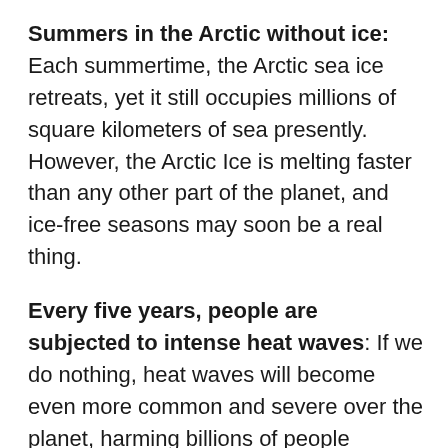Summers in the Arctic without ice: Each summertime, the Arctic sea ice retreats, yet it still occupies millions of square kilometers of sea presently. However, the Arctic Ice is melting faster than any other part of the planet, and ice-free seasons may soon be a real thing.
Every five years, people are subjected to intense heat waves: If we do nothing, heat waves will become even more common and severe over the planet, harming billions of people worldwide.
Flooding hazards increased: Precipitation, snowstorm, and other forms of excessive moisture will become more prevalent and heavier due to